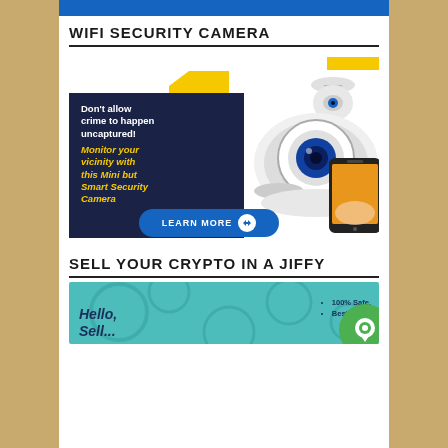WIFI SECURITY CAMERA
[Figure (infographic): WiFi security camera advertisement with dark navy box containing text 'Don't allow crime to happen uncaptured! Monitor your vicinity with this Mini but Smart Security Camera', a 360-degree fisheye security camera, a ceiling mount camera, a smartphone, yellow decorative folder shape, and a 'LEARN MORE' button]
SELL YOUR CRYPTO IN A JIFFY
[Figure (infographic): Crypto selling advertisement on teal background with 'Hello, Sell...' text and bullet points '100% Safe.' and 'Best Rate.']